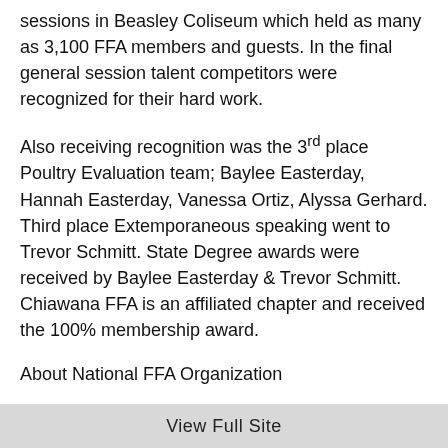sessions in Beasley Coliseum which held as many as 3,100 FFA members and guests. In the final general session talent competitors were recognized for their hard work.
Also receiving recognition was the 3rd place Poultry Evaluation team; Baylee Easterday, Hannah Easterday, Vanessa Ortiz, Alyssa Gerhard. Third place Extemporaneous speaking went to Trevor Schmitt. State Degree awards were received by Baylee Easterday & Trevor Schmitt. Chiawana FFA is an affiliated chapter and received the 100% membership award.
About National FFA Organization
The National FFA Organization is a national youth organization of
View Full Site